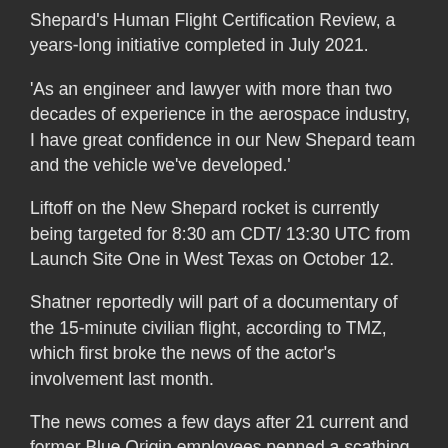Shepard's Human Flight Certification Review, a years-long initiative completed in July 2021.
'As an engineer and lawyer with more than two decades of experience in the aerospace industry, I have great confidence in our New Shepard team and the vehicle we've developed.'
Liftoff on the New Shepard rocket is currently being targeted for 8:30 am CDT/ 13:30 UTC from Launch Site One in West Texas on October 12.
Shatner reportedly will part of a documentary of the 15-minute civilian flight, according to TMZ, which first broke the news of the actor's involvement last month.
The news comes a few days after 21 current and former Blue Origin employees penned a scathing essay, questioning company founder Jeff Bezos for creating a 'toxic' work environment, along the more specific safety-related claims that...